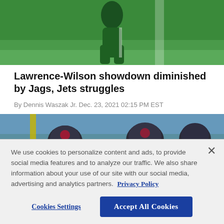[Figure (photo): NFL player in green Jets uniform, partial body shot from waist down, on green field]
Lawrence-Wilson showdown diminished by Jags, Jets struggles
By Dennis Waszak Jr. Dec. 23, 2021 02:15 PM EST
[Figure (photo): Football players in helmets, appears to be Houston Texans, on sideline]
We use cookies to personalize content and ads, to provide social media features and to analyze our traffic. We also share information about your use of our site with our social media, advertising and analytics partners. Privacy Policy
Cookies Settings | Accept All Cookies